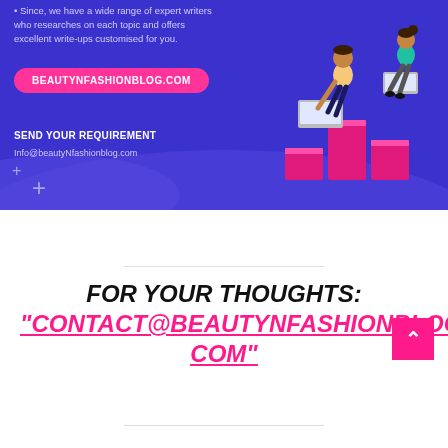[Figure (infographic): Blue banner advertisement for beautynfashionblog.com with isometric illustration of two people working on laptops, pink URL pill button, send your requirement section, and plus symbols]
FOR YOUR THOUGHTS: "CONTACT@BEAUTYNFASHIONBLOG.COM"